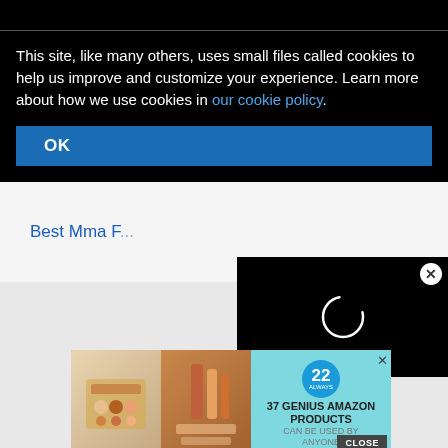This site, like many others, uses small files called cookies to help us improve and customize your experience. Learn more about how we use cookies in our cookie policy.
2017, 2018, 2019, 2020, 2021
Best Mma F...
[Figure (screenshot): Video player loading spinner on black background with close (X) button]
[Figure (infographic): Advertisement banner: 37 Genius Amazon Products Can Be Used By Anyone, with cosmetics images and a circular badge showing 22]